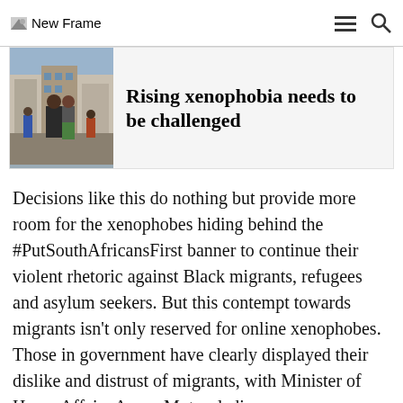New Frame
Rising xenophobia needs to be challenged
[Figure (photo): Photo of people on a street, one person wearing a black jacket and another in green pants]
Decisions like this do nothing but provide more room for the xenophobes hiding behind the #PutSouthAfricansFirst banner to continue their violent rhetoric against Black migrants, refugees and asylum seekers. But this contempt towards migrants isn't only reserved for online xenophobes. Those in government have clearly displayed their dislike and distrust of migrants, with Minister of Home Affairs Aaron Motsoaledi